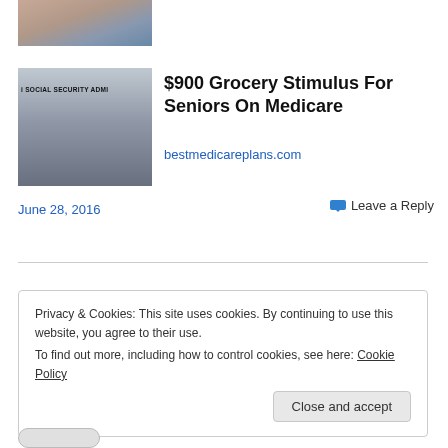[Figure (photo): Partial photo of a person, cropped at top of page]
[Figure (photo): Social Security Administration building entrance with sign reading SOCIAL SECURITY ADMI]
$900 Grocery Stimulus For Seniors On Medicare
bestmedicareplans.com
June 28, 2016
Leave a Reply
Privacy & Cookies: This site uses cookies. By continuing to use this website, you agree to their use.
To find out more, including how to control cookies, see here: Cookie Policy
Close and accept